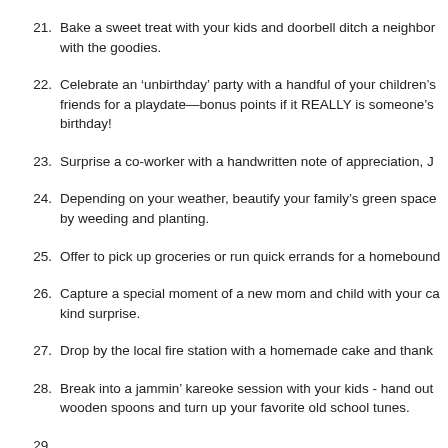21. Bake a sweet treat with your kids and doorbell ditch a neighbor with the goodies.
22. Celebrate an ‘unbirthday’ party with a handful of your children’s friends for a playdate—bonus points if it REALLY is someone’s birthday!
23. Surprise a co-worker with a handwritten note of appreciation, J
24. Depending on your weather, beautify your family’s green space by weeding and planting.
25. Offer to pick up groceries or run quick errands for a homebound
26. Capture a special moment of a new mom and child with your ca kind surprise.
27. Drop by the local fire station with a homemade cake and thank
28. Break into a jammin’ kareoke session with your kids - hand out wooden spoons and turn up your favorite old school tunes.
29. (partially visible)